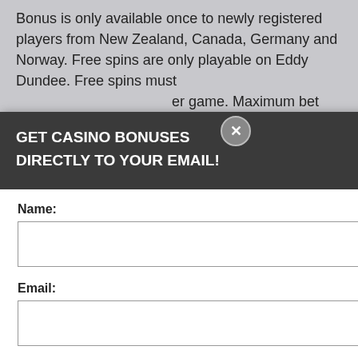Bonus is only available once to newly registered players from New Zealand, Canada, Germany and Norway. Free spins are only playable on Eddy Dundee. Free spins must be used within the game. Maximum bet size: Free spins: 30x. Wagering requirement applies on Dundee.Maximum cash out: Terms and conditions apply
NS NO DEPOSIT
perience, we use Using this site, okie & privacy policy.
[Figure (screenshot): Modal popup with dark header, form fields for Name and Email, Submit button, and footer text about privacy policy]
GET CASINO BONUSES DIRECTLY TO YOUR EMAIL!
Name:
Email:
Submit
By subscribing you are certifying that you have reviewed and accepted our updated Privacy and Cookie policy.